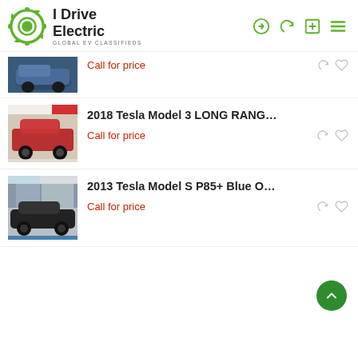[Figure (logo): I Drive Electric logo with green gear icon and text 'I Drive Electric / GLOBAL EV CLASSIFIEDS']
Call for price
2018 Tesla Model 3 LONG RANG...
Call for price
2013 Tesla Model S P85+ Blue O...
Call for price